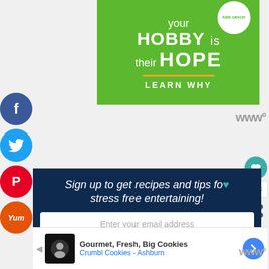[Figure (illustration): Green advertisement banner: 'your HOBBY is their HOPE – LEARN WHY' for kids cancer charity, with white circle logo and hand image at top]
[Figure (infographic): Vertical social share button sidebar with Facebook (blue), Twitter (cyan), Pinterest (red), and Yummly (orange) circular buttons]
Sign up to get recipes and tips for stress free entertaining!
Enter your email address
[Figure (screenshot): Bottom advertisement: Gourmet, Fresh, Big Cookies – Crumbl Cookies – Ashburn with navigation arrow button]
163